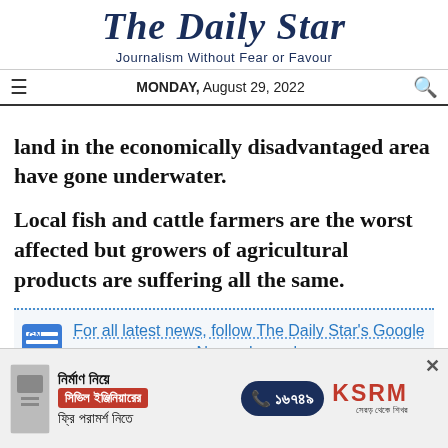The Daily Star
Journalism Without Fear or Favour
MONDAY, August 29, 2022
land in the economically disadvantaged area have gone underwater.
Local fish and cattle farmers are the worst affected but growers of agricultural products are suffering all the same.
For all latest news, follow The Daily Star's Google News channel.
[Figure (infographic): Advertisement banner in Bengali for KSRM civil engineering consultation service, showing Bengali text, a red badge with Bengali text, phone number 16749, and KSRM logo]